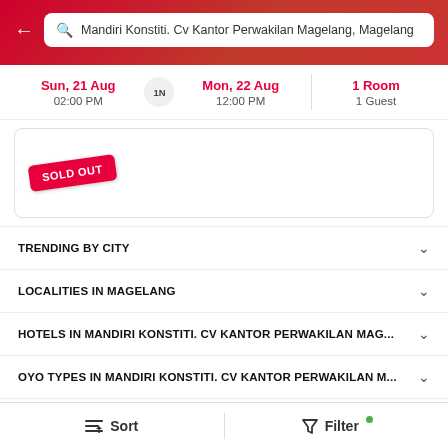Mandiri Konstiti. Cv Kantor Perwakilan Magelang, Magelang
Sun, 21 Aug 02:00 PM  |  1N  |  Mon, 22 Aug 12:00 PM  |  1 Room 1 Guest
[Figure (other): Sold Out badge on hotel card]
TRENDING BY CITY
LOCALITIES IN MAGELANG
HOTELS IN MANDIRI KONSTITI. CV KANTOR PERWAKILAN MAG...
OYO TYPES IN MANDIRI KONSTITI. CV KANTOR PERWAKILAN M...
ACCOMMODATION TYPES IN MANDIRI KONSTITI. CV KANTOR P...
2022 — 2023 © Oravel Stays Pvt Ltd. All rights reserved